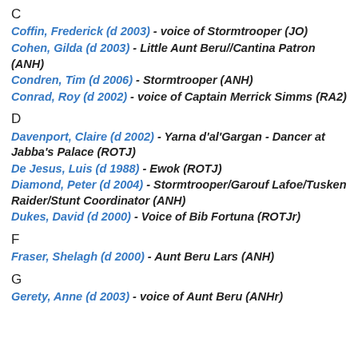C
Coffin, Frederick (d 2003) - voice of Stormtrooper (JO)
Cohen, Gilda (d 2003) - Little Aunt Beru//Cantina Patron (ANH)
Condren, Tim (d 2006) - Stormtrooper (ANH)
Conrad, Roy (d 2002) - voice of Captain Merrick Simms (RA2)
D
Davenport, Claire (d 2002) - Yarna d'al'Gargan - Dancer at Jabba's Palace (ROTJ)
De Jesus, Luis (d 1988) - Ewok (ROTJ)
Diamond, Peter (d 2004) - Stormtrooper/Garouf Lafoe/Tusken Raider/Stunt Coordinator (ANH)
Dukes, David (d 2000) - Voice of Bib Fortuna (ROTJr)
F
Fraser, Shelagh (d 2000) - Aunt Beru Lars (ANH)
G
Gerety, Anne (d 2003) - voice of Aunt Beru (ANHr)